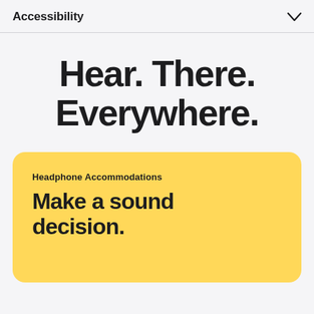Accessibility
Hear. There. Everywhere.
Headphone Accommodations
Make a sound decision.